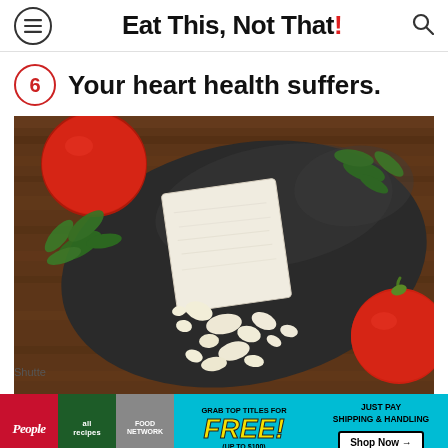Eat This, Not That!
6  Your heart health suffers.
[Figure (photo): Crumbled feta cheese on a dark slate board with cherry tomatoes and parsley on a wooden background]
Shutte
[Figure (infographic): Advertisement banner: People and allrecipes magazine covers, Grab top titles for FREE! (up to $100), Just Pay Shipping & Handling, Shop Now arrow button]